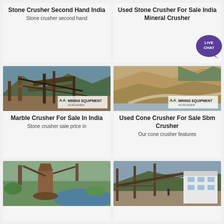Stone Crusher Second Hand India
Stone crusher second hand
Used Stone Crusher For Sale India Mineral Crusher
[Figure (photo): Stone crusher industrial equipment at a mining site]
Marble Crusher For Sale In India
Stone crusher sale price in
[Figure (photo): Aerial view of a stone quarry mining site]
Used Cone Crusher For Sale Sbm Crusher
Our cone crusher features
[Figure (photo): Cone crusher machine at a riverside site]
[Figure (photo): Industrial crusher conveyor structure with a white building]